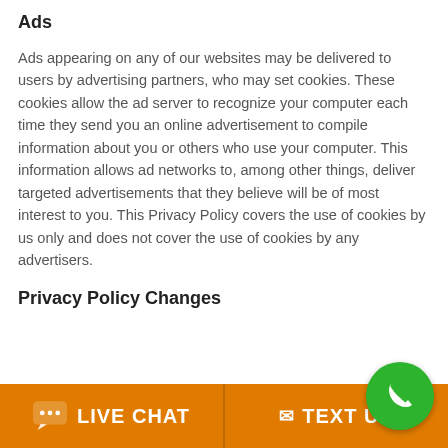Ads
Ads appearing on any of our websites may be delivered to users by advertising partners, who may set cookies. These cookies allow the ad server to recognize your computer each time they send you an online advertisement to compile information about you or others who use your computer. This information allows ad networks to, among other things, deliver targeted advertisements that they believe will be of most interest to you. This Privacy Policy covers the use of cookies by us only and does not cover the use of cookies by any advertisers.
Privacy Policy Changes